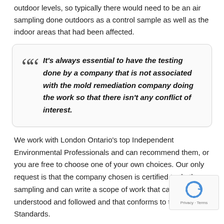outdoor levels, so typically there would need to be an air sampling done outdoors as a control sample as well as the indoor areas that had been affected.
It’s always essential to have the testing done by a company that is not associated with the mold remediation company doing the work so that there isn’t any conflict of interest.
We work with London Ontario’s top Independent Environmental Professionals and can recommend them, or you are free to choose one of your own choices. Our only request is that the company chosen is certified to do the sampling and can write a scope of work that can be understood and followed and that conforms to the IICRC Standards.
If you are in need of mold remediation in the London Ontario